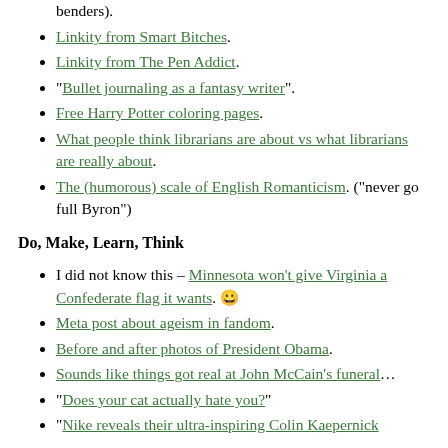benders).
Linkity from Smart Bitches.
Linkity from The Pen Addict.
"Bullet journaling as a fantasy writer".
Free Harry Potter coloring pages.
What people think librarians are about vs what librarians are really about.
The (humorous) scale of English Romanticism. ("never go full Byron")
Do, Make, Learn, Think
I did not know this – Minnesota won't give Virginia a Confederate flag it wants. 😀
Meta post about ageism in fandom.
Before and after photos of President Obama.
Sounds like things got real at John McCain's funeral…
"Does your cat actually hate you?"
"Nike reveals their ultra-inspiring Colin Kaepernick